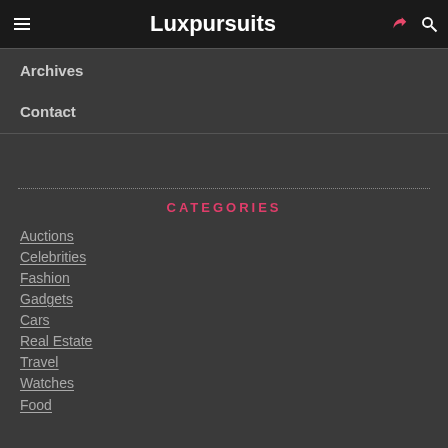Luxpursuits
Archives
Contact
CATEGORIES
Auctions
Celebrities
Fashion
Gadgets
Cars
Real Estate
Travel
Watches
Food